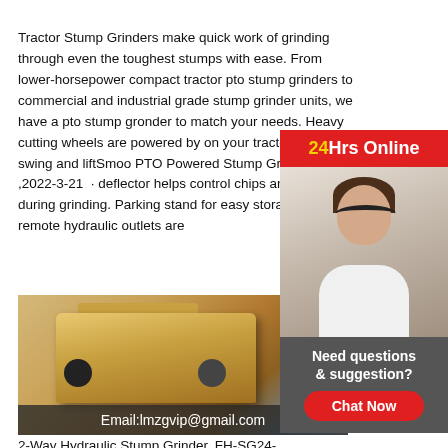Tractor Stump Grinders make quick work of grinding through even the toughest stumps with ease. From lower-horsepower compact tractor pto stump grinders to commercial and industrial grade stump grinder units, we have a pto stump gronder to match your needs. Heavy cutting wheels are powered by on your tractor, while the swing and liftSmoo PTO Powered Stump Grinders ,2022-3-21 · deflector helps control chips and debris during grinding. Parking stand for easy storage. Two remote hydraulic outlets are
[Figure (photo): Chat support widget with a customer service representative wearing a headset. Red banner at top reads '24Hrs Online' with yellow '24' text. Gray box below with 'Need questions & suggestion?' text and a red 'Chat Now' button.]
[Figure (photo): Industrial yellow heavy machinery (impact crusher or similar) on a factory floor. Email address 'Email:lmzgvip@gmail.com' overlaid at the bottom of the image.]
2-Way Hydraulic Stump Grinder, FH-SG24-